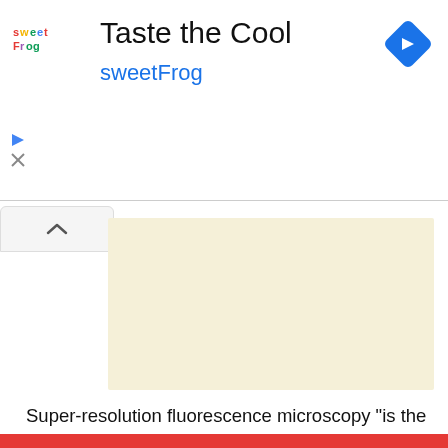[Figure (other): sweetFrog advertisement banner with logo, 'Taste the Cool' title, blue navigation direction icon, and cream/beige image placeholder area with collapse chevron button]
Super-resolution fluorescence microscopy "is the latest spoke in the revolutionary wheel," the guest editors note. "Recognized with the Nobel Prize in chemistry in 2014 for overcoming the diffraction barrier of light microscopy, it unlocks a new potential to upend biological research at the molecular level. Ten years after their development in their first laboratories, super-resolution microscopy